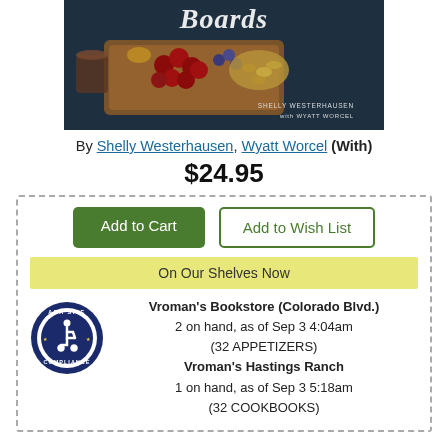[Figure (photo): Book cover photo showing cherries, pistachios, blueberries and other food on a dark background with the title partially visible and authors Shelly Westerhausen with Wyatt Worcel]
By Shelly Westerhausen, Wyatt Worcel (With)
$24.95
Add to Cart
Add to Wish List
On Our Shelves Now
Vroman's Bookstore (Colorado Blvd.)
2 on hand, as of Sep 3 4:04am
(32 APPETIZERS)
Vroman's Hastings Ranch
1 on hand, as of Sep 3 5:18am
(32 COOKBOOKS)
[Figure (logo): ADA Site Compliance badge with wheelchair accessibility icon]